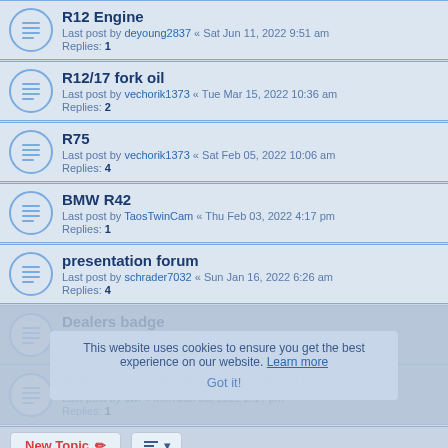R12 Engine
Last post by deyoung2837 « Sat Jun 11, 2022 9:51 am
Replies: 1
R12/17 fork oil
Last post by vechorik1373 « Tue Mar 15, 2022 10:36 am
Replies: 2
R75
Last post by vechorik1373 « Sat Feb 05, 2022 10:06 am
Replies: 4
BMW R42
Last post by TaosTwinCam « Thu Feb 03, 2022 4:17 pm
Replies: 1
presentation forum
Last post by schrader7032 « Sun Jan 16, 2022 6:26 am
Replies: 4
Dealers badge
Last post by sherman980 « Tue Jan 11, 2022 1:19 pm
Replies: 4
R 35 and maybe R2/3/4 speedo drive
Last post by cwf « Mon Jan 03, 2022 2:14 pm
Replies: 1
This website uses cookies to ensure you get the best experience on our website. Learn more
Got it!